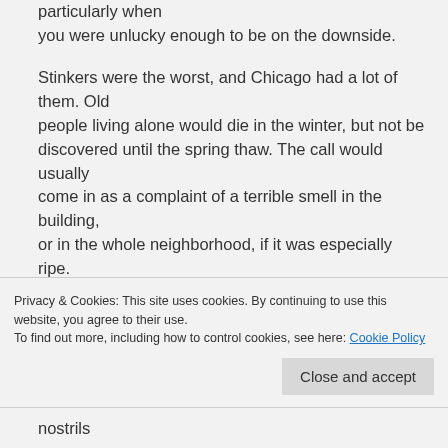particularly when you were unlucky enough to be on the downside.

Stinkers were the worst, and Chicago had a lot of them. Old people living alone would die in the winter, but not be discovered until the spring thaw. The call would usually come in as a complaint of a terrible smell in the building, or in the whole neighborhood, if it was especially ripe.

In the handful of times I worked the wagon, I never caught a stinker, but I was told that the smell could be so
Privacy & Cookies: This site uses cookies. By continuing to use this website, you agree to their use.
To find out more, including how to control cookies, see here: Cookie Policy
Close and accept
nostrils